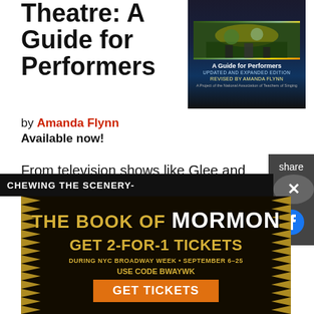Theatre: A Guide for Performers
by Amanda Flynn
Available now!
[Figure (photo): Book cover of 'A Guide for Performers, Updated and Expanded Edition, Revised by Amanda Flynn', dark background with performers on stage]
From television shows like Glee and Smash to the phenomenon of the Broadway show Hamilton, musical theatre has never been more popular. In So You Want to Sing Musical Theatre, Updated and Expanded Edition, Broadway vocal coach Amanda Flynn provides an in-depth look at the skills needed to successfully sing and teach this repertoire. Fully
[Figure (screenshot): Share panel on right side with Twitter and Facebook icons on dark grey background, labeled 'share']
CHEWING THE SCENERY-
[Figure (infographic): Advertisement: The Book of Mormon - Get 2-for-1 tickets during NYC Broadway Week, September 6-25, use code BWAYWK. Get Tickets button.]